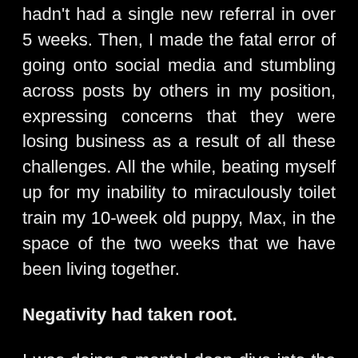hadn't had a single new referral in over 5 weeks. Then, I made the fatal error of going onto social media and stumbling across posts by others in my position, expressing concerns that they were losing business as a result of all these challenges. All the while, beating myself up for my inability to miraculously toilet train my 10-week old puppy, Max, in the space of the two weeks that we have been living together.
Negativity had taken root.
I was doing a mental deep dive into the finances panic and reviewing what food I had, calculating how long I could make it last when the last insult landed. My landlord's text came rolling in, notifying me that there was plumbing problem in the other unit and plumbing would be shut off for the night. She advised me to keep